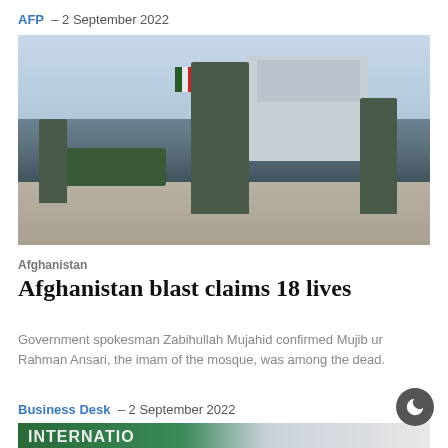AFP  – 2 September 2022
[Figure (photo): Armed soldiers/security forces standing in a street with a military pickup truck, building with arches in background, Afghan flag visible]
Afghanistan
Afghanistan blast claims 18 lives
Government spokesman Zabihullah Mujahid confirmed Mujib ur Rahman Ansari, the imam of the mosque, was among the dead.
Business Desk  – 2 September 2022
[Figure (photo): Partial image showing INTERNATIO text logo on green background with map outline, cut off at page bottom]